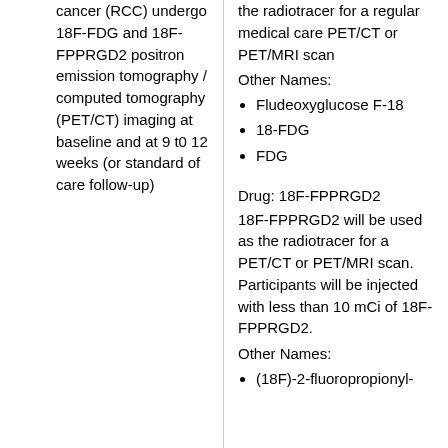cancer (RCC) undergo 18F-FDG and 18F-FPPRGD2 positron emission tomography / computed tomography (PET/CT) imaging at baseline and at 9 t0 12 weeks (or standard of care follow-up)
the radiotracer for a regular medical care PET/CT or PET/MRI scan
Other Names:
Fludeoxyglucose F-18
18-FDG
FDG
Drug: 18F-FPPRGD2
18F-FPPRGD2 will be used as the radiotracer for a PET/CT or PET/MRI scan. Participants will be injected with less than 10 mCi of 18F-FPPRGD2.
Other Names:
(18F)-2-fluoropropionyl-